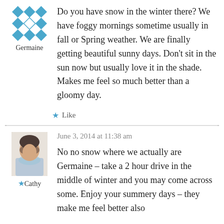[Figure (illustration): Quilt/geometric pattern avatar icon in blue and white, for user Germaine]
Germaine
Do you have snow in the winter there? We have foggy mornings sometime usually in fall or Spring weather. We are finally getting beautiful sunny days. Don't sit in the sun now but usually love it in the shade. Makes me feel so much better than a gloomy day.
★ Like
[Figure (photo): Photo of a woman (Cathy) with short dark hair wearing a light blue scarf]
★ Cathy
June 3, 2014 at 11:38 am
No no snow where we actually are Germaine – take a 2 hour drive in the middle of winter and you may come across some. Enjoy your summery days – they make me feel better also